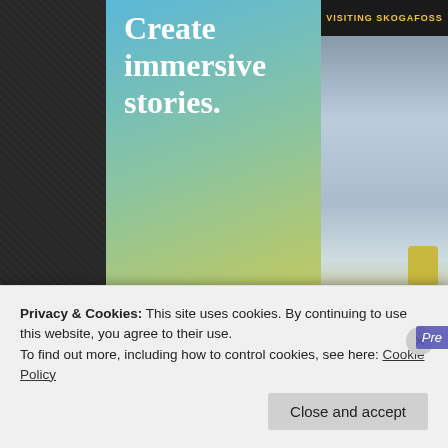[Figure (screenshot): App advertisement banner with gradient background showing 'Create immersive stories. GET THE APP' text and a phone screenshot showing 'VISITING SKOGAFOSS' waterfall photo with app UI elements]
Posted in News, Slash
Tagged Live At Studios 60, Rock, Slash Feat. Myles Kennedy And The Conspirators, Soundscape VR, virtual concert, virtual reality
Privacy & Cookies: This site uses cookies. By continuing to use this website, you agree to their use.
To find out more, including how to control cookies, see here: Cookie Policy
Close and accept